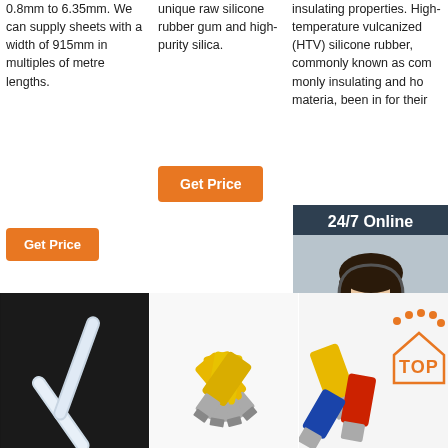0.8mm to 6.35mm. We can supply sheets with a width of 915mm in multiples of metre lengths.
Get Price
unique raw silicone rubber gum and high-purity silica.
Get Price
insulating properties. High-temperature vulcanized (HTV) silicone rubber, commonly known as commonly insulating and ho material, been in for their ...
24/7 Online
Click here for free chat !
QUOTATION
Get
[Figure (photo): Silicone tubing close-up on dark background]
[Figure (photo): Yellow electrical crimp connectors]
[Figure (photo): Assorted electrical crimp connectors with TOP badge]